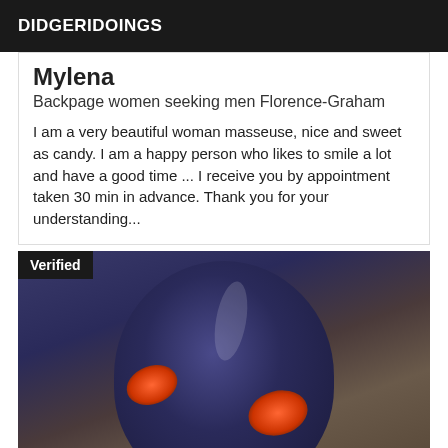DIDGERIDOINGS
Mylena
Backpage women seeking men Florence-Graham
I am a very beautiful woman masseuse, nice and sweet as candy. I am a happy person who likes to smile a lot and have a good time ... I receive you by appointment taken 30 min in advance. Thank you for your understanding...
[Figure (photo): Photo of a person wearing a dark blue latex or rubber full-head mask with red eye details, photographed indoors. A 'Verified' badge appears in the top-left corner of the image.]